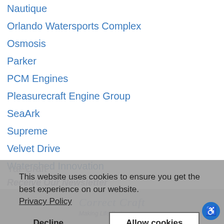Nautique
Orlando Watersports Complex
Osmosis
Parker
PCM Engines
Pleasurecraft Engine Group
SeaArk
Supreme
Velvet Drive
Watershed Innovation
Yar-Craft
Receive Our Newsletter
[mc_signup_form id="3616"]
This website uses cookies to ensure you get the best experience on our website.
Privacy Policy
Decline
Allow cookies
[Figure (logo): Correct Craft logo with italic script text and tagline 'Making Life Better']